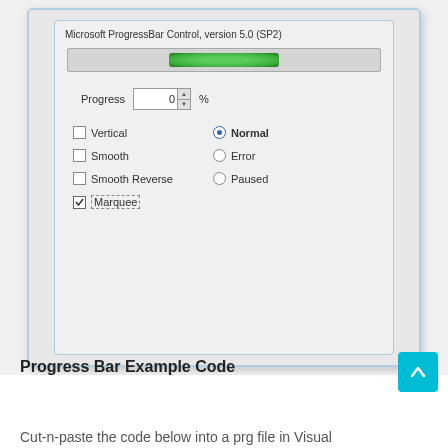[Figure (screenshot): Screenshot of Microsoft ProgressBar Control version 5.0 (SP2) dialog showing a progress bar with green marquee fill, a Progress spinner set to 0%, checkboxes for Vertical (unchecked), Smooth (unchecked), Smooth Reverse (unchecked), Marquee (checked with dashed border focus), and radio buttons for Normal (selected), Error, and Paused.]
Progress Bar Example Code
Cut-n-paste the code below into a prg file in Visual